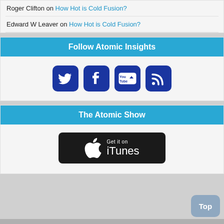Roger Clifton on How Hot is Cold Fusion?
Edward W Leaver on How Hot is Cold Fusion?
Follow Atomic Insights
[Figure (infographic): Four social media icons: Twitter, Facebook, YouTube, RSS feed — all dark blue with rounded corners]
The Atomic Show
[Figure (logo): Get it on iTunes badge — black rounded rectangle with Apple logo and text 'Get it on iTunes']